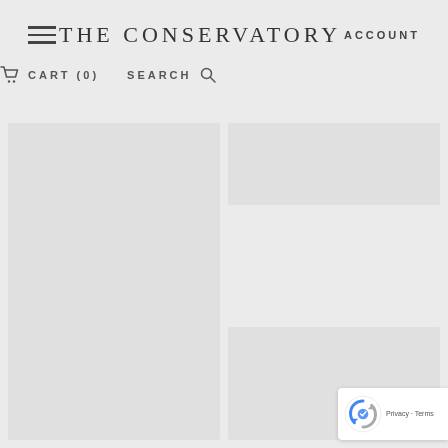THE CONSERVATORY
ACCOUNT
CART (0)
SEARCH
[Figure (other): Left large product image placeholder (light gray rectangle)]
[Figure (other): Right top small product image placeholder (light gray rectangle)]
[Figure (other): Right bottom product image placeholder (light gray rectangle)]
[Figure (other): reCAPTCHA badge with Privacy and Terms links]